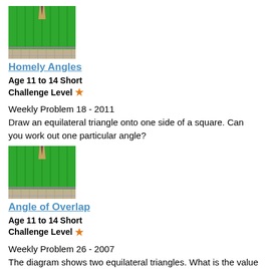[Figure (photo): Row of green pencils from above, pencil tips visible]
Homely Angles
Age 11 to 14 Short
Challenge Level ★
Weekly Problem 18 - 2011
Draw an equilateral triangle onto one side of a square. Can you work out one particular angle?
[Figure (photo): Row of green pencils from above, pencil tips visible]
Angle of Overlap
Age 11 to 14 Short
Challenge Level ★
Weekly Problem 26 - 2007
The diagram shows two equilateral triangles. What is the value of x?
[Figure (photo): Row of green pencils from above, pencil tips visible (partially visible at bottom)]